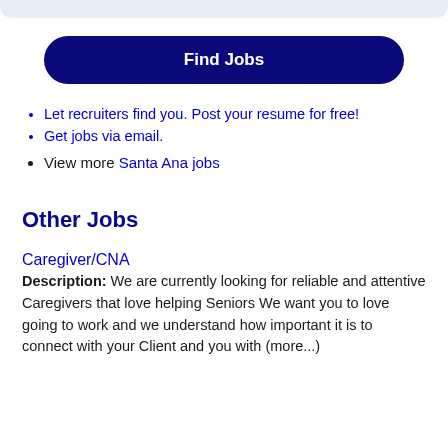Let recruiters find you. Post your resume for free!
Get jobs via email.
View more Santa Ana jobs
Other Jobs
Caregiver/CNA
Description: We are currently looking for reliable and attentive Caregivers that love helping Seniors We want you to love going to work and we understand how important it is to connect with your Client and you with (more...)